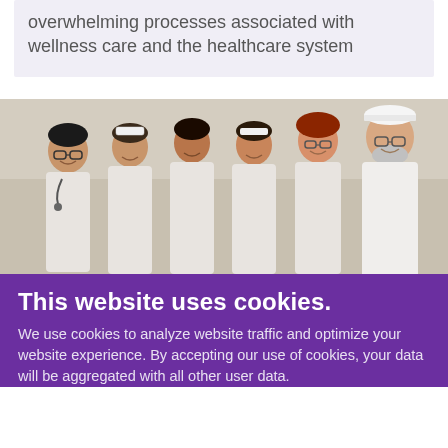overwhelming processes associated with wellness care and the healthcare system
[Figure (photo): Group photo of six healthcare workers in white uniforms/lab coats smiling together in an indoor setting]
This website uses cookies.
We use cookies to analyze website traffic and optimize your website experience. By accepting our use of cookies, your data will be aggregated with all other user data.